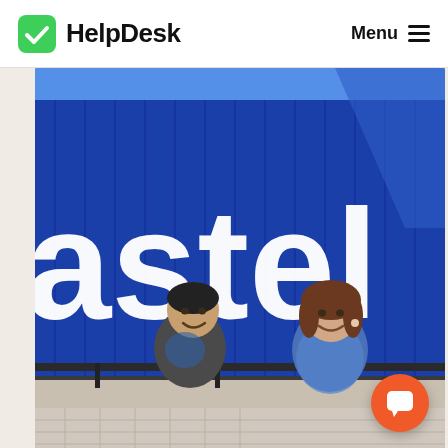HelpDesk — Menu
[Figure (photo): Two people standing on a balcony/rooftop in front of a large blue wall with white 3D letters spelling 'astel' (partial view of a company name). The man on the left wears a graphic t-shirt, the woman on the right wears a blue patterned dress. Blue sky in the background. A circular orange chat bubble button is overlaid in the bottom-right corner.]